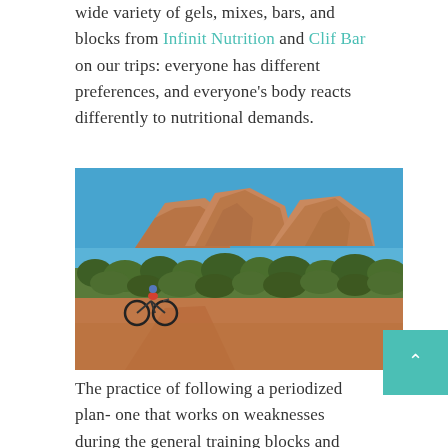wide variety of gels, mixes, bars, and blocks from Infinit Nutrition and Clif Bar on our trips: everyone has different preferences, and everyone's body reacts differently to nutritional demands.
[Figure (photo): A mountain biker riding on a red dirt trail in Sedona, Arizona, with red rock formations and desert scrubland in the background under a blue sky.]
The practice of following a periodized plan- one that works on weaknesses during the general training blocks and